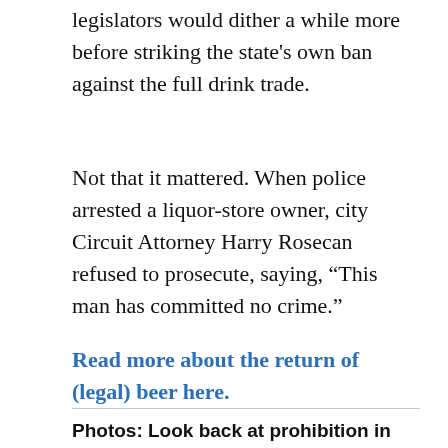legislators would dither a while more before striking the state's own ban against the full drink trade.
Not that it mattered. When police arrested a liquor-store owner, city Circuit Attorney Harry Rosecan refused to prosecute, saying, “This man has committed no crime.”
Read more about the return of (legal) beer here.
Photos: Look back at prohibition in St. Louis on the anniversary of its repeal.
[Figure (photo): Black and white photo of a building with bare trees, partially visible with a play button overlay indicating a video slideshow]